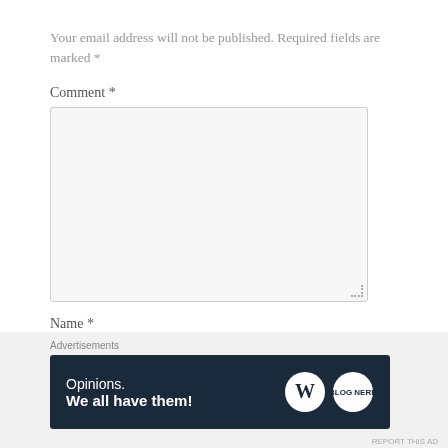Your email address will not be published. Required fields are marked *
Comment *
[Figure (screenshot): Comment textarea input field, empty, light gray background with border]
Name *
[Figure (screenshot): Name text input field, empty, light gray background with border]
Advertisements
[Figure (infographic): WordPress advertisement banner: 'Opinions. We all have them!' with WordPress logo and BnB logo on dark navy background]
REPORT THIS AD